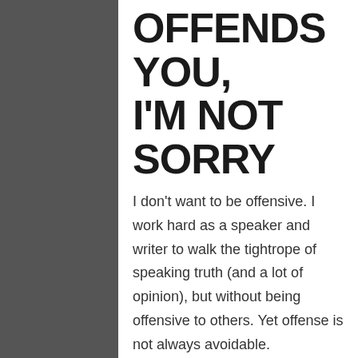OFFENDS YOU, I'M NOT SORRY
I don't want to be offensive. I work hard as a speaker and writer to walk the tightrope of speaking truth (and a lot of opinion), but without being offensive to others. Yet offense is not always avoidable. Sometimes I expect it and even believe it validates what I am saying. At other times I grieve it and desperately wish it had not happened.
The same response (someone being offended) can create radically different responses from me. This isn't